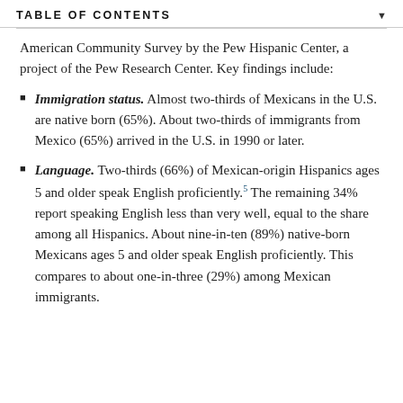TABLE OF CONTENTS
American Community Survey by the Pew Hispanic Center, a project of the Pew Research Center. Key findings include:
Immigration status. Almost two-thirds of Mexicans in the U.S. are native born (65%). About two-thirds of immigrants from Mexico (65%) arrived in the U.S. in 1990 or later.
Language. Two-thirds (66%) of Mexican-origin Hispanics ages 5 and older speak English proficiently.5 The remaining 34% report speaking English less than very well, equal to the share among all Hispanics. About nine-in-ten (89%) native-born Mexicans ages 5 and older speak English proficiently. This compares to about one-in-three (29%) among Mexican immigrants.